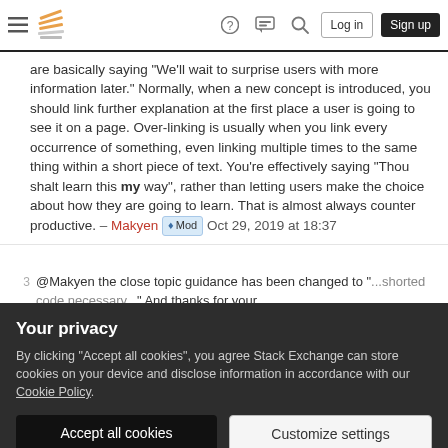Stack Exchange navigation bar with hamburger menu, logo, help, chat, search icons, Log in and Sign up buttons
are basically saying "We'll wait to surprise users with more information later." Normally, when a new concept is introduced, you should link further explanation at the first place a user is going to see it on a page. Over-linking is usually when you link every occurrence of something, even linking multiple times to the same thing within a short piece of text. You're effectively saying "Thou shalt learn this my way", rather than letting users make the choice about how they are going to learn. That is almost always counter productive. – Makyen ♦ Mod Oct 29, 2019 at 18:37
3 @Makyen the close topic guidance has been changed to "...shorted code necessary..." And thanks for your
Your privacy
By clicking "Accept all cookies", you agree Stack Exchange can store cookies on your device and disclose information in accordance with our Cookie Policy.
Accept all cookies
Customize settings
15 I hope that is a typo for "...shortest code necessary..."